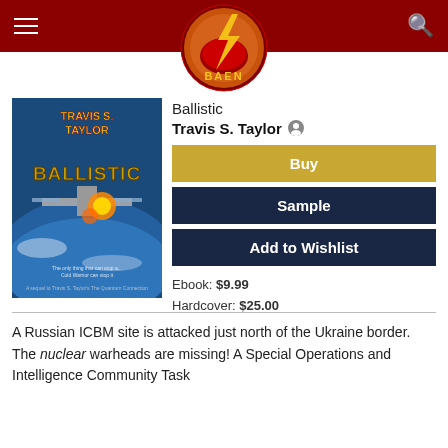BAEN (navigation bar with logo)
[Figure (illustration): Book cover of 'Ballistic' by Travis S. Taylor, showing a space station being attacked with explosions against Earth backdrop]
Ballistic
Travis S. Taylor
Buy
Sample
Add to Wishlist
Ebook: $9.99
Hardcover: $25.00
A Russian ICBM site is attacked just north of the Ukraine border. The nuclear warheads are missing! A Special Operations and Intelligence Community Task